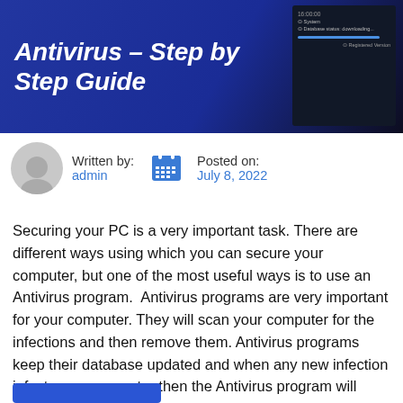[Figure (screenshot): Hero banner with dark blue gradient background showing article title 'Antivirus – Step by Step Guide' in bold white italic text, with a small antivirus program screenshot overlay in the top right corner]
Antivirus – Step by Step Guide
Written by: admin   Posted on: July 8, 2022
Securing your PC is a very important task. There are different ways using which you can secure your computer, but one of the most useful ways is to use an Antivirus program.  Antivirus programs are very important for your computer. They will scan your computer for the infections and then remove them. Antivirus programs keep their database updated and when any new infection infects your computer then the Antivirus program will remove it easily. There...